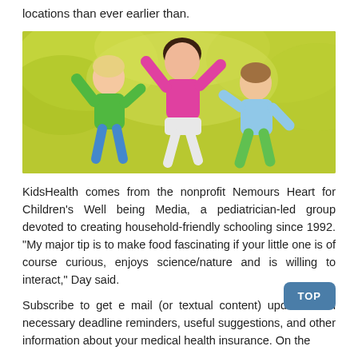locations than ever earlier than.
[Figure (photo): Three children jumping joyfully outdoors with arms raised, in front of a blurred yellow-green leafy background. Left child wears green shirt, center child wears pink shirt, right child wears light blue shirt.]
KidsHealth comes from the nonprofit Nemours Heart for Children's Well being Media, a pediatrician-led group devoted to creating household-friendly schooling since 1992. “My major tip is to make food fascinating if your little one is of course curious, enjoys science/nature and is willing to interact,” Day said.
Subscribe to get e mail (or textual content) updates with necessary deadline reminders, useful suggestions, and other information about your medical health insurance. On the